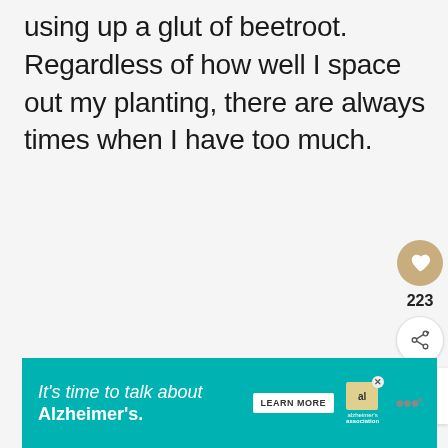using up a glut of beetroot. Regardless of how well I space out my planting, there are always times when I have too much.
[Figure (infographic): Heart/like button icon (gold circle with white heart) showing 223 likes, and a share button (white circle with share icon)]
[Figure (infographic): What's Next panel with thumbnail image and text 'smoked mackerel &...' with label 'WHAT'S NEXT →']
[Figure (infographic): Advertisement banner: teal background, text 'It's time to talk about Alzheimer's.' with LEARN MORE button and Alzheimer's Association logo]